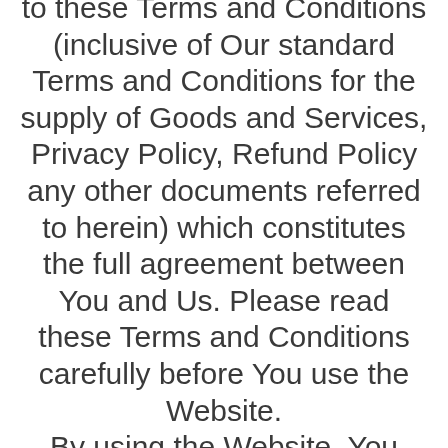to these Terms and Conditions (inclusive of Our standard Terms and Conditions for the supply of Goods and Services, Privacy Policy, Refund Policy any other documents referred to herein) which constitutes the full agreement between You and Us. Please read these Terms and Conditions carefully before You use the Website. By using the Website, You indicate that You have, effective upon the date on which You have used the Website, read, accepted and agreed to be bound by these